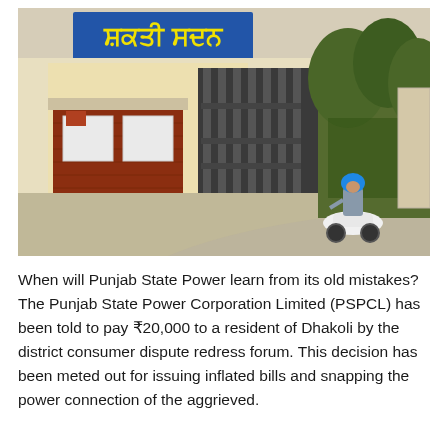[Figure (photo): Street-level photograph showing the entrance of a building with a blue Punjabi-script sign reading 'Shakti Sadan'. A red brick guard post is visible on the left, a metal gate in the center, and trees on the right. A man wearing a blue turban rides a scooter on the driveway.]
When will Punjab State Power learn from its old mistakes? The Punjab State Power Corporation Limited (PSPCL) has been told to pay ₹20,000 to a resident of Dhakoli by the district consumer dispute redress forum. This decision has been meted out for issuing inflated bills and snapping the power connection of the aggrieved.